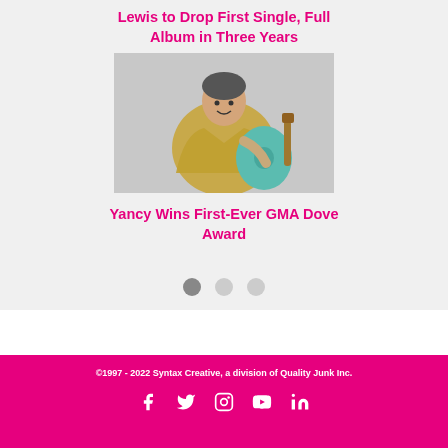Lewis to Drop First Single, Full Album in Three Years
[Figure (photo): Woman in gold/silver metallic jacket holding a teal acoustic guitar, smiling, on grey background]
Yancy Wins First-Ever GMA Dove Award
©1997 - 2022 Syntax Creative, a division of Quality Junk Inc.